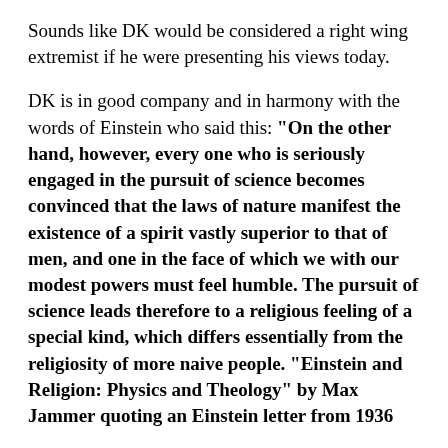Sounds like DK would be considered a right wing extremist if he were presenting his views today.
DK is in good company and in harmony with the words of Einstein who said this: "On the other hand, however, every one who is seriously engaged in the pursuit of science becomes convinced that the laws of nature manifest the existence of a spirit vastly superior to that of men, and one in the face of which we with our modest powers must feel humble. The pursuit of science leads therefore to a religious feeling of a special kind, which differs essentially from the religiosity of more naive people. “Einstein and Religion: Physics and Theology” by Max Jammer quoting an Einstein letter from 1936
Of course, not all who accept Divine Intelligence have their feet placed solidly on the right hand path, but this much we know and that is those who fight against the freedom to teach and merely expose the rising generation to the idea that there is a kingdom of the